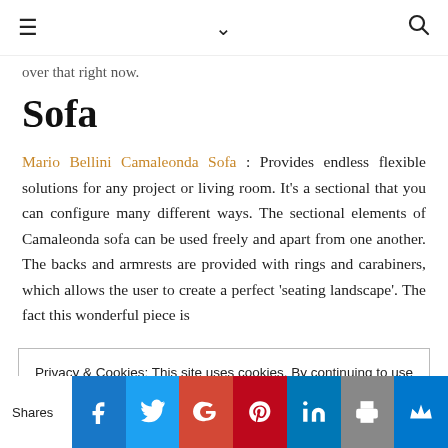≡  ∨  🔍
over that right now.
Sofa
Mario Bellini Camaleonda Sofa : Provides endless flexible solutions for any project or living room. It's a sectional that you can configure many different ways. The sectional elements of Camaleonda sofa can be used freely and apart from one another. The backs and armrests are provided with rings and carabiners, which allows the user to create a perfect 'seating landscape'. The fact this wonderful piece is
Privacy & Cookies: This site uses cookies. By continuing to use this website, you agree to their use.
To find out more, including how to control cookies, see here: Cookie Policy
Shares | Facebook | Twitter | Google+ | Pinterest | LinkedIn | Print | Crown